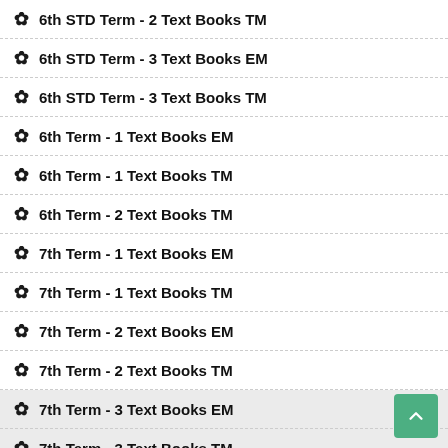6th STD Term - 2 Text Books TM
6th STD Term - 3 Text Books EM
6th STD Term - 3 Text Books TM
6th Term - 1 Text Books EM
6th Term - 1 Text Books TM
6th Term - 2 Text Books TM
7th Term - 1 Text Books EM
7th Term - 1 Text Books TM
7th Term - 2 Text Books EM
7th Term - 2 Text Books TM
7th Term - 3 Text Books EM
7th Term - 3 Text Books TM
10th English Medium Books
12th Language Subjects Books